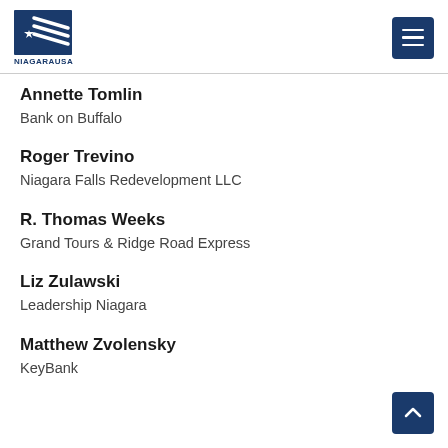NIAGARA USA
Annette Tomlin
Bank on Buffalo
Roger Trevino
Niagara Falls Redevelopment LLC
R. Thomas Weeks
Grand Tours & Ridge Road Express
Liz Zulawski
Leadership Niagara
Matthew Zvolensky
KeyBank